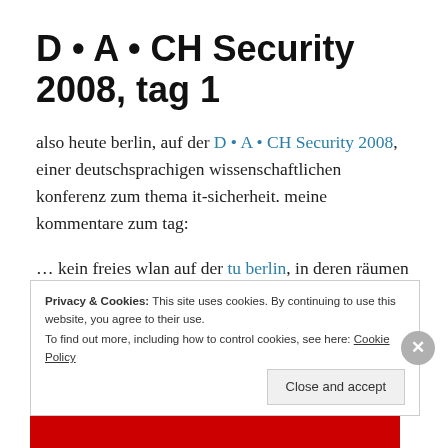D • A • CH Security 2008, tag 1
also heute berlin, auf der D • A • CH Security 2008, einer deutschsprachigen wissenschaftlichen konferenz zum thema it-sicherheit. meine kommentare zum tag:
… kein freies wlan auf der tu berlin, in deren räumen die konferenz stattfindet :( . ist nur für studenten der tu berlin. angeblich gibts einen zugang für studenten
Privacy & Cookies: This site uses cookies. By continuing to use this website, you agree to their use. To find out more, including how to control cookies, see here: Cookie Policy
Close and accept